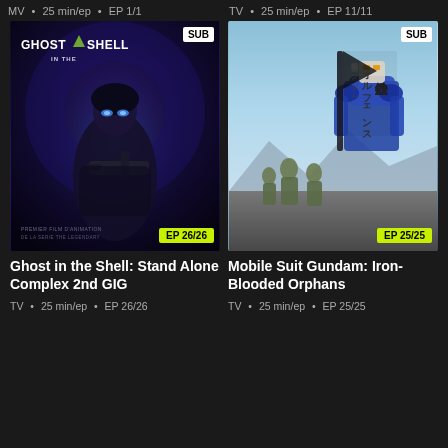MV • 25 min/ep • EP 1/1
TV • 25 min/ep • EP 11/11
[Figure (screenshot): Thumbnail for Ghost in the Shell: Stand Alone Complex 2nd GIG — dark blue/purple anime poster with female character holding a gun, 'GHOST IN THE SHELL' logo at top, SUB badge top-right, EP 26/26 badge bottom-right]
[Figure (screenshot): Thumbnail for Mobile Suit Gundam: Iron-Blooded Orphans — sky blue background with anime characters and mech suit, Japanese title text, SUB badge top-right, EP 25/25 badge bottom-right]
Ghost in the Shell: Stand Alone Complex 2nd GIG
TV • 25 min/ep • EP 26/26
Mobile Suit Gundam: Iron-Blooded Orphans
TV • 25 min/ep • EP 25/25